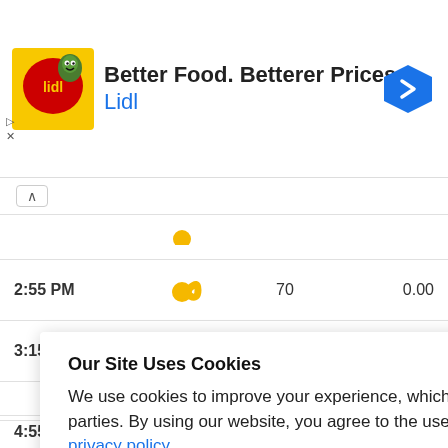[Figure (screenshot): Lidl advertisement banner with logo, headline 'Better Food. Betterer Prices.' and blue navigation arrow]
| Time | Condition | UV | Value |
| --- | --- | --- | --- |
| 2:55 PM | [partly cloudy icon] | 70 | 0.00 |
| 3:15 PM | [partly cloudy icon] | 70 | 0.00 |
|  |  |  | 0.00 |
|  |  |  | 0.00 |
|  |  |  | 0.00 |
|  |  |  | 0.00 |
| 4:55 PM | [partly cloudy icon] | 72 | 0.00 |
Our Site Uses Cookies
We use cookies to improve your experience, which may also include cookies from third parties. By using our website, you agree to the use of cookies. Learn more in our privacy policy.
ACCEPT & CLOSE